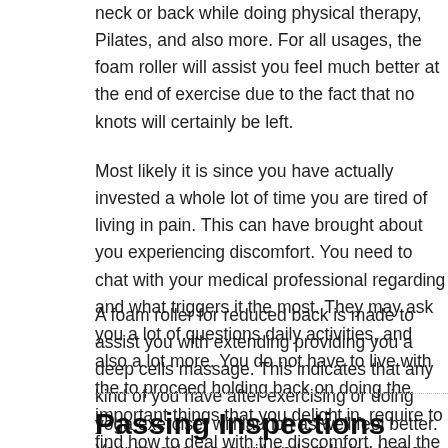neck or back while doing physical therapy, Pilates, and also more. For all usages, the foam roller will assist you feel much better at the end of exercise due to the fact that no knots will certainly be left.
Most likely it is since you have actually invested a whole lot of time and you are tired of living in pain. This can have brought about you experiencing discomfort. You need to chat with your medical professional regarding pain and what triggers it the most. They may ask you a lot of questions regarding daily activities, and also a lot more. You do not have to live with the pain or to proceed holding back on doing the important things that you delight in. You require to find how to deal with the discomfort, heal the damages,
A foam roller for reduced back is made to assist you with extending while providing you a deep cells massage. This indicates that any kind of tightness you have after exercising or doing yoga exercise, will launch as well as you feel better. Your muscle mass will end up being longer, and also you have the ability to extend much deeper.
Passing Inspections With Ease Using Our